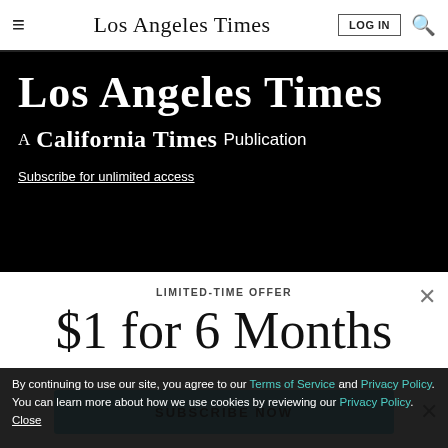Los Angeles Times — navigation bar with LOG IN and search
[Figure (logo): Los Angeles Times masthead logo in white on black background with 'A California Times Publication' tagline and 'Subscribe for unlimited access' link]
LIMITED-TIME OFFER
$1 for 6 Months
SUBSCRIBE NOW
By continuing to use our site, you agree to our Terms of Service and Privacy Policy. You can learn more about how we use cookies by reviewing our Privacy Policy. Close